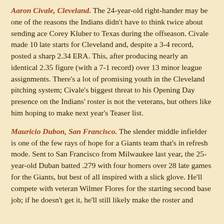Aaron Civale, Cleveland. The 24-year-old right-hander may be one of the reasons the Indians didn't have to think twice about sending ace Corey Kluber to Texas during the offseason. Civale made 10 late starts for Cleveland and, despite a 3-4 record, posted a sharp 2.34 ERA. This, after producing nearly an identical 2.35 figure (with a 7-1 record) over 13 minor league assignments. There's a lot of promising youth in the Cleveland pitching system; Civale's biggest threat to his Opening Day presence on the Indians' roster is not the veterans, but others like him hoping to make next year's Teaser list.
Mauricio Dubon, San Francisco. The slender middle infielder is one of the few rays of hope for a Giants team that's in refresh mode. Sent to San Francisco from Milwaukee last year, the 25-year-old Duban batted .279 with four homers over 28 late games for the Giants, but best of all inspired with a slick glove. He'll compete with veteran Wilmer Flores for the starting second base job; if he doesn't get it, he'll still likely make the roster and